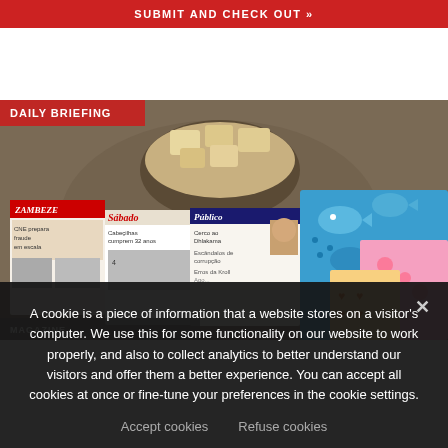SUBMIT AND CHECK OUT »
[Figure (photo): Market scene with African newspapers including Zambeze, Sabado, Publico with headlines, food items like popcorn/rice cakes in a bowl, and colorful patterned fabric/textiles with fish designs. A red 'DAILY BRIEFING' label overlays the top-left of the image.]
A cookie is a piece of information that a website stores on a visitor's computer. We use this for some functionality on our website to work properly, and also to collect analytics to better understand our visitors and offer them a better experience. You can accept all cookies at once or fine-tune your preferences in the cookie settings.
Accept cookies   Refuse cookies